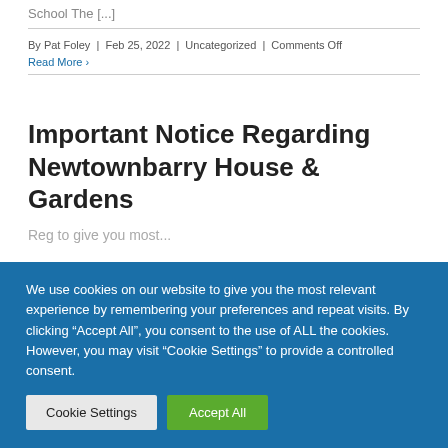School The [...]
By Pat Foley | Feb 25, 2022 | Uncategorized | Comments Off
Read More ›
Important Notice Regarding Newtownbarry House & Gardens
Reg to give you most...
We use cookies on our website to give you the most relevant experience by remembering your preferences and repeat visits. By clicking "Accept All", you consent to the use of ALL the cookies. However, you may visit "Cookie Settings" to provide a controlled consent.
Cookie Settings
Accept All